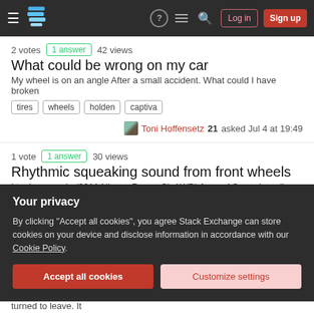Stack Exchange navigation bar with Log in and Sign up buttons
2 votes   1 answer   42 views
What could be wrong on my car
My wheel is on an angle After a small accident. What could I have broken
tires
wheels
holden
captiva
Toni Hoffensetz 21 asked Jul 4 at 19:49
1 vote   1 answer   30 views
Rhythmic squeaking sound from front wheels
I took my car in (2011 Nissan Rogue SL AWD) for an AC repair earlier this week but I was hoping they could also take a look to see what has been causing a…
Your privacy
By clicking "Accept all cookies", you agree Stack Exchange can store cookies on your device and disclose information in accordance with our Cookie Policy.
Accept all cookies   Customize settings
[!|Hello, I was driving out this narrow drive thru and hit the curb as I turned to leave. It